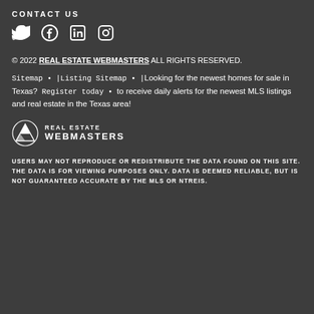CONTACT US
[Figure (illustration): Social media icons: Twitter bird, Facebook f, LinkedIn in, Instagram camera]
© 2022 REAL ESTATE WEBMASTERS ALL RIGHTS RESERVED.
Sitemap • | Listing Sitemap • | Looking for the newest homes for sale in Texas? Register today • to receive daily alerts for the newest MLS listings and real estate in the Texas area!
[Figure (logo): Real Estate Webmasters logo with mountain icon and text REAL ESTATE WEBMASTERS]
USERS MAY NOT REPRODUCE OR REDISTRIBUTE THE DATA FOUND ON THIS SITE. THE DATA IS FOR VIEWING PURPOSES ONLY. DATA IS DEEMED RELIABLE, BUT IS NOT GUARANTEED ACCURATE BY THE MLS OR NTREIS.